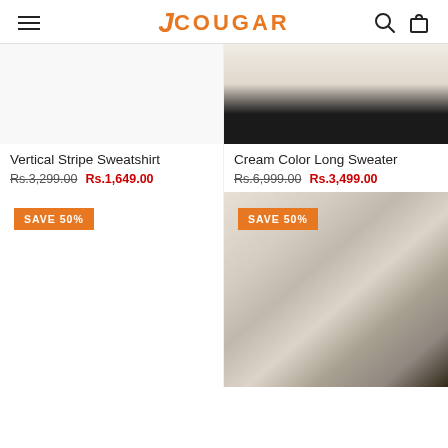JCOUGAR
[Figure (screenshot): Product listing page for JCOUGAR fashion brand showing two product cards in a 2-column grid. Top row shows: left - Vertical Stripe Sweatshirt (cropped, white background), right - Cream Color Long Sweater (model wearing cream sweater with black pants). Both have orange SAVE 50% badges. Second row shows left - empty white space with SAVE 50% badge, right - model wearing a long beige cardigan coat.]
Vertical Stripe Sweatshirt
Rs.3,299.00 Rs.1,649.00
Cream Color Long Sweater
Rs.6,999.00 Rs.3,499.00